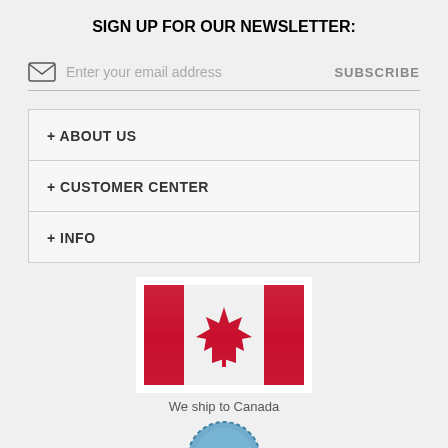SIGN UP FOR OUR NEWSLETTER:
Enter your email address  SUBSCRIBE
+ ABOUT US
+ CUSTOMER CENTER
+ INFO
[Figure (illustration): Canadian flag with red and white stripes and red maple leaf in center]
We ship to Canada
[Figure (illustration): Partial blue circular badge/seal at bottom]